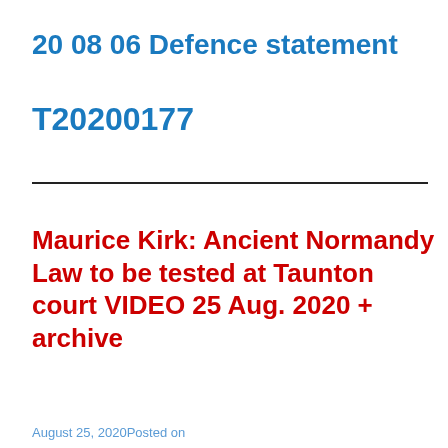20 08 06 Defence statement
T20200177
Maurice Kirk: Ancient Normandy Law to be tested at Taunton court VIDEO 25 Aug. 2020 + archive
August 25, 2020Posted on